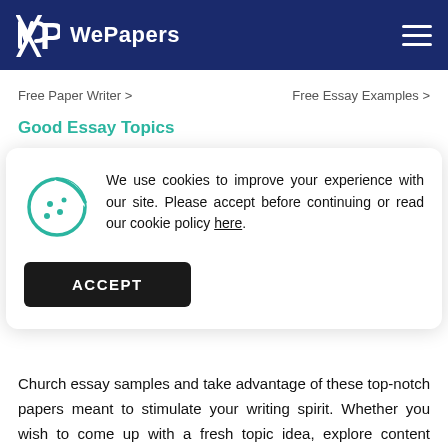WePapers
Free Paper Writer >
Free Essay Examples >
Good Essay Topics
We use cookies to improve your experience with our site. Please accept before continuing or read our cookie policy here.
ACCEPT
Church essay samples and take advantage of these top-notch papers meant to stimulate your writing spirit. Whether you wish to come up with a fresh topic idea, explore content structuring, know hows clear up